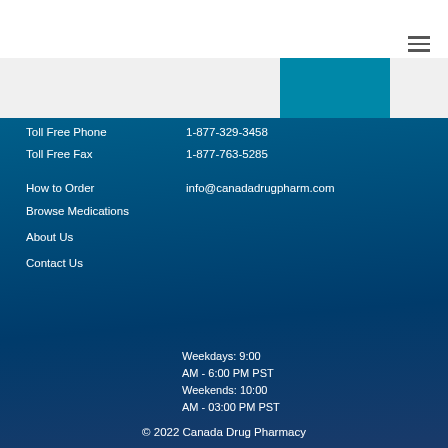Toll Free Phone    1-877-329-3458
Toll Free Fax    1-877-763-5285
How to Order    info@canadadrugpharm.com
Browse Medications
About Us
Contact Us
Weekdays: 9:00 AM - 6:00 PM PST
Weekends: 10:00 AM - 03:00 PM PST
© 2022 Canada Drug Pharmacy